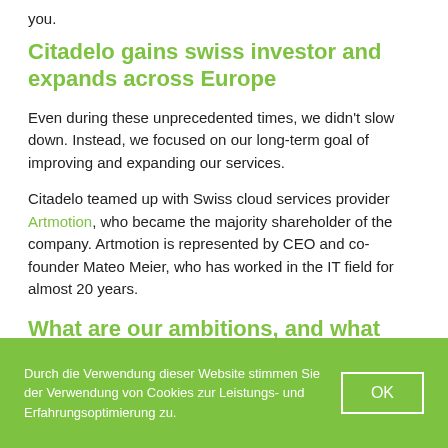you.
Citadelo gains swiss investor and expands across Europe
Even during these unprecedented times, we didn't slow down. Instead, we focused on our long-term goal of improving and expanding our services.
Citadelo teamed up with Swiss cloud services provider Artmotion, who became the majority shareholder of the company. Artmotion is represented by CEO and co-founder Mateo Meier, who has worked in the IT field for almost 20 years.
What are our ambitions, and what will this partnership bring to you, our customers?
Durch die Verwendung dieser Website stimmen Sie der Verwendung von Cookies zur Leistungs- und Erfahrungsoptimierung zu.